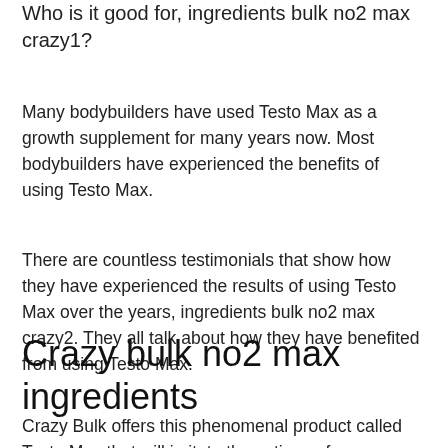Who is it good for, ingredients bulk no2 max crazy1?
Many bodybuilders have used Testo Max as a growth supplement for many years now. Most bodybuilders have experienced the benefits of using Testo Max.
There are countless testimonials that show how they have experienced the results of using Testo Max over the years, ingredients bulk no2 max crazy2. They all talk about how they have benefited from using Testo Max.
Crazy bulk no2 max ingredients
Crazy Bulk offers this phenomenal product called Testo Max that will imitate the actions of testosterone in your body and will not introduce any foreign...